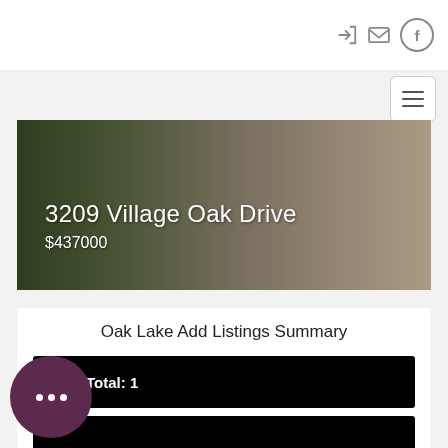Navigation bar with login, email, and Facebook icons, plus hamburger menu
[Figure (photo): Exterior photo of a house with driveway and garage door, used as hero image banner]
3209 Village Oak Drive
$437000
Oak Lake Add Listings Summary
Total: 1
New: 0